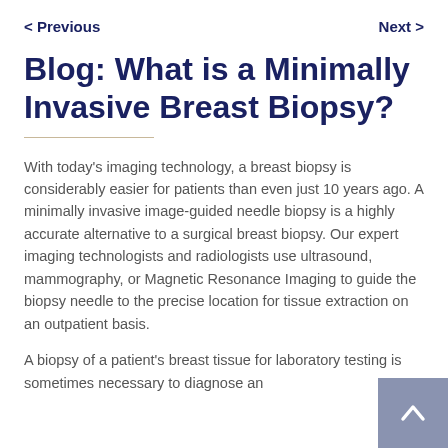< Previous    Next >
Blog: What is a Minimally Invasive Breast Biopsy?
With today's imaging technology, a breast biopsy is considerably easier for patients than even just 10 years ago. A minimally invasive image-guided needle biopsy is a highly accurate alternative to a surgical breast biopsy. Our expert imaging technologists and radiologists use ultrasound, mammography, or Magnetic Resonance Imaging to guide the biopsy needle to the precise location for tissue extraction on an outpatient basis.
A biopsy of a patient's breast tissue for laboratory testing is sometimes necessary to diagnose an